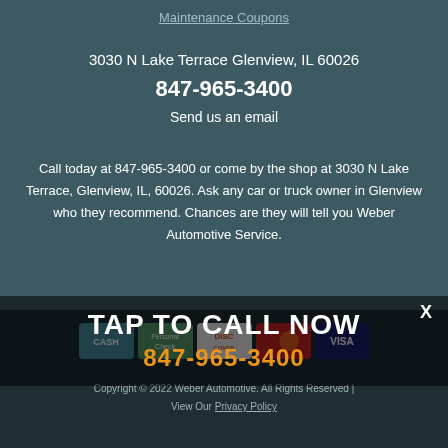Maintenance Coupons
3030 N Lake Terrace Glenview, IL 60026
847-965-3400
Send us an email
Call today at 847-965-3400 or come by the shop at 3030 N Lake Terrace, Glenview, IL, 60026. Ask any car or truck owner in Glenview who they recommend. Chances are they will tell you Weber Automotive Service.
[Figure (other): Payment method logos: CASH, Personal Check, Discover, MasterCard, VISA]
TAP TO CALL NOW
847-965-3400
Copyright © 2022 Weber Automotive. All Rights Reserved | View Our Privacy Policy